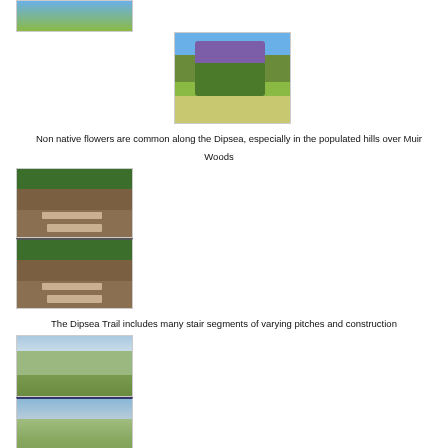[Figure (photo): Partial view of non-native flowers (lupines) on hillside — top of image cropped]
[Figure (photo): Non-native purple lupine flowers growing on grassy hills along the Dipsea trail over Muir Woods, blue sky background]
Non native flowers are common along the Dipsea, especially in the populated hills over Muir Woods
[Figure (photo): Wooden stair steps on wooded trail segment of the Dipsea Trail, surrounded by green foliage]
[Figure (photo): Another view of wooden stair steps on the Dipsea Trail with trees overhead]
The Dipsea Trail includes many stair segments of varying pitches and construction
[Figure (photo): Coastal hillside with low fog and redwood tree stands, blue sky above]
[Figure (photo): Rolling green hills with coastal fog drifting over redwood tree stands on the Dipsea Trail]
Coastal fog provides perrenial moisture to redwood tree stands on the Dipsea Trail
[Figure (photo): Bottom strip — partial image of another photo, blue tones]